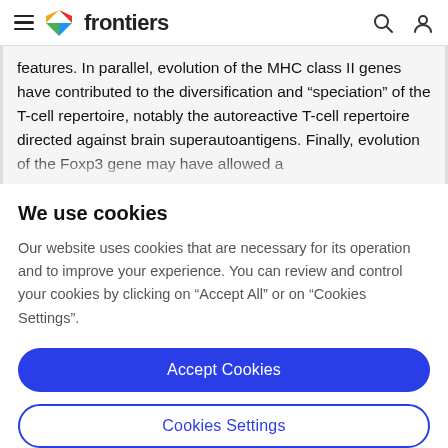frontiers
features. In parallel, evolution of the MHC class II genes have contributed to the diversification and “speciation” of the T-cell repertoire, notably the autoreactive T-cell repertoire directed against brain superautoantigens. Finally, evolution of the Foxp3 gene may have allowed a
We use cookies
Our website uses cookies that are necessary for its operation and to improve your experience. You can review and control your cookies by clicking on “Accept All” or on “Cookies Settings”.
Accept Cookies
Cookies Settings